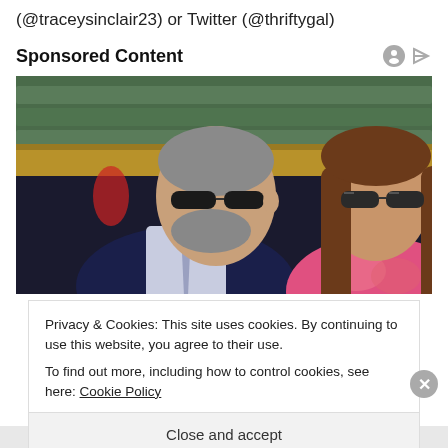(@traceysinclair23) or Twitter (@thriftygal)
Sponsored Content
[Figure (photo): Two people sitting in stadium seating. A man in a dark suit with sunglasses on the left, and a woman with long brown hair and sunglasses on the right.]
Privacy & Cookies: This site uses cookies. By continuing to use this website, you agree to their use.
To find out more, including how to control cookies, see here: Cookie Policy
Close and accept